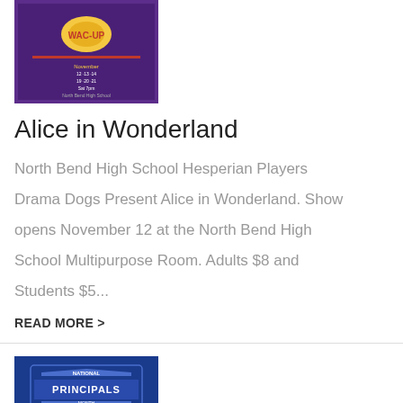[Figure (illustration): Alice in Wonderland theatrical poster with colorful cartoon imagery on purple background]
Alice in Wonderland
North Bend High School Hesperian Players Drama Dogs Present Alice in Wonderland. Show opens November 12 at the North Bend High School Multipurpose Room. Adults $8 and Students $5...
READ MORE >
[Figure (logo): National Principals Month logo on dark blue background with badge design]
October is National Principals Month!